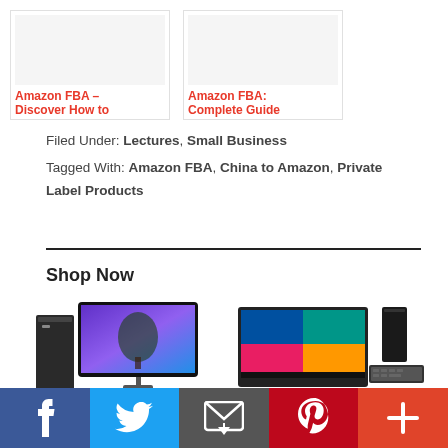[Figure (illustration): Two book/article cards side by side. Left card titled 'Amazon FBA – Discover How to'. Right card titled 'Amazon FBA: Complete Guide'. Both titles in red.]
Filed Under: Lectures, Small Business
Tagged With: Amazon FBA, China to Amazon, Private Label Products
Shop Now
[Figure (photo): Two desktop computer setups shown side by side. Left: black tower PC with large widescreen monitor showing a vivid purple/blue wallpaper. Right: compact PC with monitor showing Windows 10 and a keyboard.]
[Figure (infographic): Social share bar at the bottom with Facebook (blue), Twitter (light blue), Email (dark gray), Pinterest (red), and More/Plus (orange-red) buttons with their respective icons.]